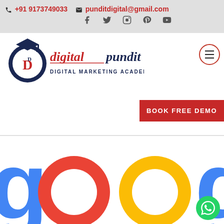📞 +91 9173749033   ✉ punditdigital@gmail.com
[Figure (logo): Digital Pundit Digital Marketing Academy logo with graduation cap icon and stylized 'digital pundit' text in red and navy]
BOOK FREE DEMO
[Figure (photo): Large Google logo letters 'oog' visible as colored rings/circles — blue, red, yellow, blue — cropped at page edges]
[Figure (other): WhatsApp floating action button in green circle at bottom right]